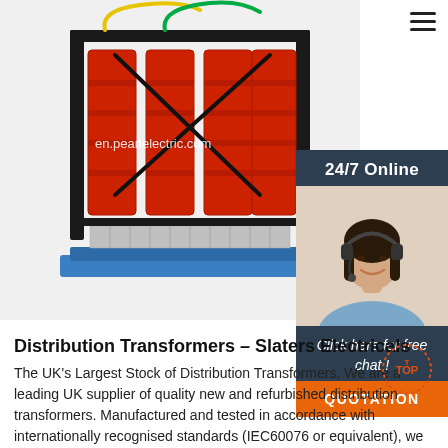[Figure (photo): Industrial dry-type distribution transformer with red resin-cast windings on a blue base, with colored cables on top. Watermark text: en.pearlelectric.com]
[Figure (photo): Chat widget with dark background showing 24/7 Online label, a customer service agent (woman with headset), 'Click here for free chat!' text, and an orange QUOTATION button]
Distribution Transformers – Slaters Electricals
The UK's Largest Stock of Distribution Transformers. We are a leading UK supplier of quality new and refurbished distribution transformers. Manufactured and tested in accordance with internationally recognised standards (IEC60076 or equivalent), we